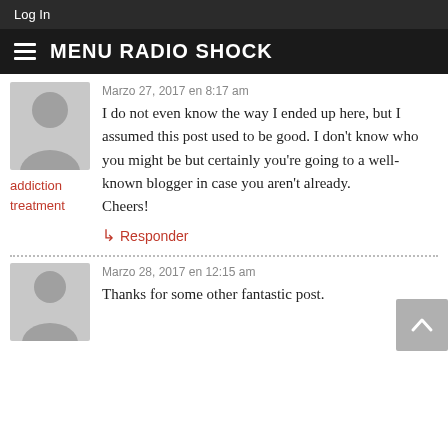Log In
MENU RADIO SHOCK
Marzo 27, 2017 en 8:17 am
I do not even know the way I ended up here, but I assumed this post used to be good. I don't know who you might be but certainly you're going to a well-known blogger in case you aren't already.
Cheers!
addiction treatment
↳ Responder
Marzo 28, 2017 en 12:15 am
Thanks for some other fantastic post.